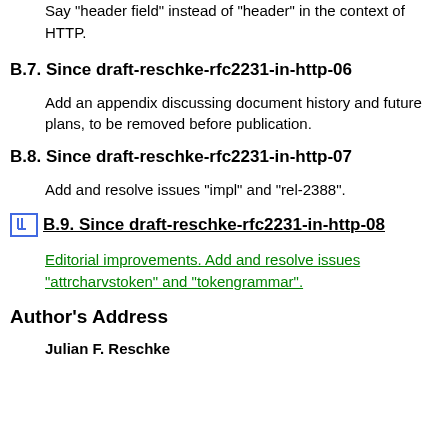Say "header field" instead of "header" in the context of HTTP.
B.7. Since draft-reschke-rfc2231-in-http-06
Add an appendix discussing document history and future plans, to be removed before publication.
B.8. Since draft-reschke-rfc2231-in-http-07
Add and resolve issues "impl" and "rel-2388".
B.9. Since draft-reschke-rfc2231-in-http-08
Editorial improvements. Add and resolve issues "attrcharvstoken" and "tokengrammar".
Author's Address
Julian F. Reschke